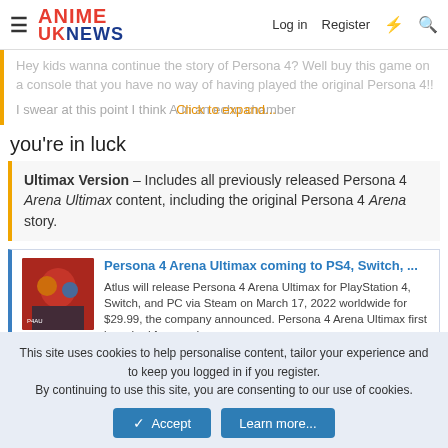ANIME UK NEWS — Log in  Register
Hey kids wanna continue the story of Persona 4? Well buy this game on a console that you have no way of having played the original Persona 4!!
I swear at this point I think Atlus are living in an echo chamber Click to expand...
you're in luck
Ultimax Version – Includes all previously released Persona 4 Arena Ultimax content, including the original Persona 4 Arena story.
[Figure (screenshot): Thumbnail image of Persona 4 Arena Ultimax game art with red/colorful characters]
Persona 4 Arena Ultimax coming to PS4, Switch, ... Atlus will release Persona 4 Arena Ultimax for PlayStation 4, Switch, and PC via Steam on March 17, 2022 worldwide for $29.99, the company announced. Persona 4 Arena Ultimax first launched for arcade... www.gematsu.com
This site uses cookies to help personalise content, tailor your experience and to keep you logged in if you register.
By continuing to use this site, you are consenting to our use of cookies.